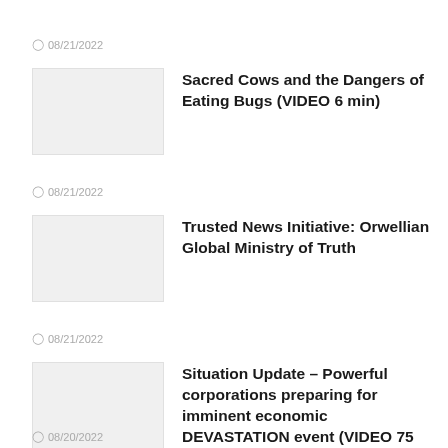08/21/2022
[Figure (photo): Thumbnail image placeholder for article 1]
Sacred Cows and the Dangers of Eating Bugs (VIDEO 6 min)
08/21/2022
[Figure (photo): Thumbnail image placeholder for article 2]
Trusted News Initiative: Orwellian Global Ministry of Truth
08/21/2022
[Figure (photo): Thumbnail image placeholder for article 3]
Situation Update – Powerful corporations preparing for imminent economic DEVASTATION event (VIDEO 75 min)
08/20/2022